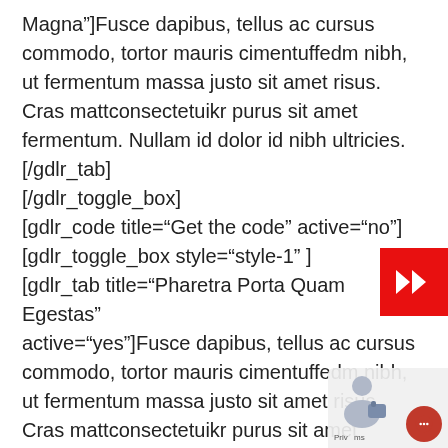Magna"]Fusce dapibus, tellus ac cursus commodo, tortor mauris cimentuffedm nibh, ut fermentum massa justo sit amet risus. Cras mattconsectetuikr purus sit amet fermentum. Nullam id dolor id nibh ultricies.[/gdlr_tab]
[/gdlr_toggle_box]
[gdlr_code title="Get the code" active="no"]
[gdlr_toggle_box style="style-1" ]
[gdlr_tab title="Pharetra Porta Quam Egestas" active="yes"]Fusce dapibus, tellus ac cursus commodo, tortor mauris cimentuffedm nibh, ut fermentum massa justo sit amet risus. Cras mattconsectetuikr purus sit amet fermentum. Nullam id dolor id nibh ultricies.[/gdlr_tab]

[gdlr_tab title="Dolor Bibendum Tortor"]Fusce